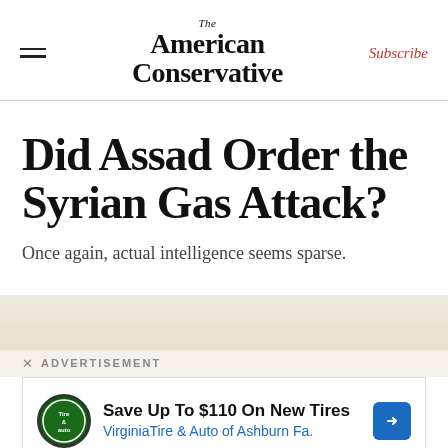The American Conservative | Subscribe
Did Assad Order the Syrian Gas Attack?
Once again, actual intelligence seems sparse.
[Figure (other): Advertisement banner: Save Up To $110 On New Tires - Virginia Tire & Auto of Ashburn Fa.]